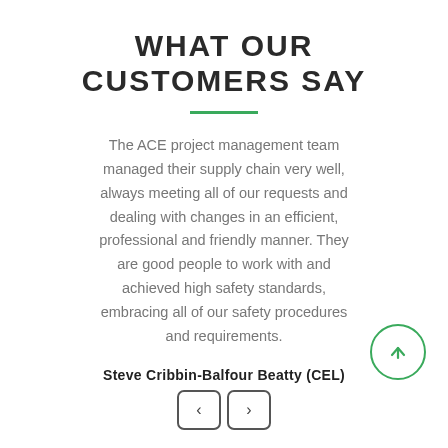WHAT OUR CUSTOMERS SAY
The ACE project management team managed their supply chain very well, always meeting all of our requests and dealing with changes in an efficient, professional and friendly manner. They are good people to work with and achieved high safety standards, embracing all of our safety procedures and requirements.
Steve Cribbin-Balfour Beatty (CEL)